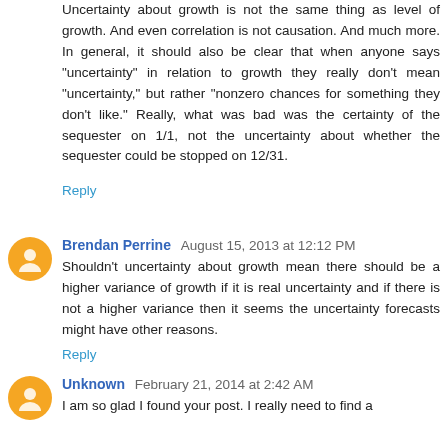Uncertainty about growth is not the same thing as level of growth. And even correlation is not causation. And much more. In general, it should also be clear that when anyone says "uncertainty" in relation to growth they really don't mean "uncertainty," but rather "nonzero chances for something they don't like." Really, what was bad was the certainty of the sequester on 1/1, not the uncertainty about whether the sequester could be stopped on 12/31.
Reply
Brendan Perrine  August 15, 2013 at 12:12 PM
Shouldn't uncertainty about growth mean there should be a higher variance of growth if it is real uncertainty and if there is not a higher variance then it seems the uncertainty forecasts might have other reasons.
Reply
Unknown  February 21, 2014 at 2:42 AM
I am so glad I found your post. I really need to find a